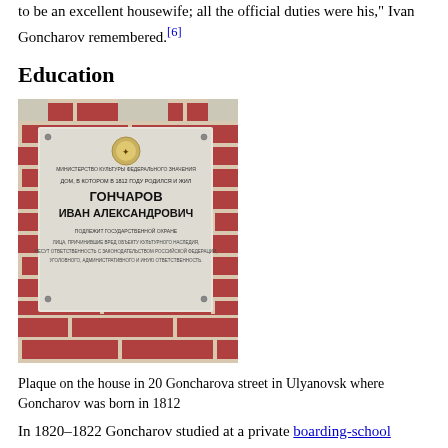to be an excellent housewife; all the official duties were his," Ivan Goncharov remembered.[6]
Education
[Figure (photo): A plaque mounted on a brick wall at 20 Goncharova street in Ulyanovsk, Russia. The plaque contains Russian text about Ivan Goncharov and features a coat of arms emblem at the top.]
Plaque on the house in 20 Goncharova street in Ulyanovsk where Goncharov was born in 1812
In 1820–1822 Goncharov studied at a private boarding-school owned by Rev. Fyodor S. Troitsky. It was here that he learned the